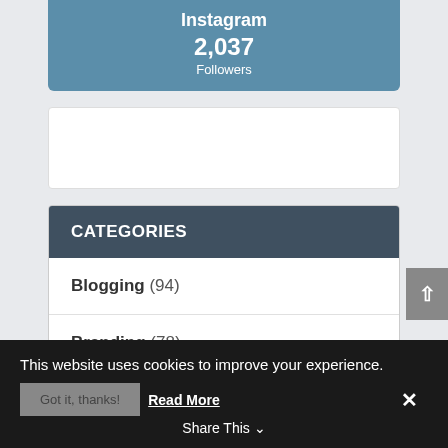Instagram 2,037 Followers
CATEGORIES
Blogging (94)
Branding (78)
Business Growth (506)
This website uses cookies to improve your experience.
Got it, thanks! Read More
Share This